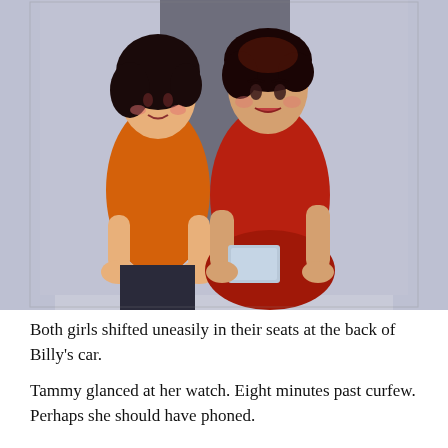[Figure (illustration): Vintage illustration of two young women standing close together. The woman on the left wears an orange long-sleeve top and has dark curly hair. The woman on the right wears a red outfit and has short dark hair, holding what appears to be a small book or card. The background is pale blue-grey with curtain-like shapes.]
Both girls shifted uneasily in their seats at the back of Billy's car.
Tammy glanced at her watch. Eight minutes past curfew. Perhaps she should have phoned.